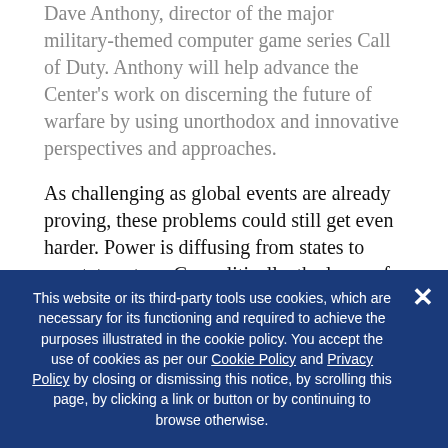Dave Anthony, director of the major military-themed computer game series Call of Duty. Anthony will help advance the Center's work on discerning the future of warfare by using unorthodox and innovative perspectives and approaches.
As challenging as global events are already proving, these problems could still get even harder. Power is diffusing from states to nonstate actors. Geopolitically, the locus of power is shifting from the West to the East and South. Accelerating this diffusion is the continuous spread of disruptive technologies that not only change daily life, but also could transform the conduct of war. But these are just the things we know. After spending years
This website or its third-party tools use cookies, which are necessary for its functioning and required to achieve the purposes illustrated in the cookie policy. You accept the use of cookies as per our Cookie Policy and Privacy Policy by closing or dismissing this notice, by scrolling this page, by clicking a link or button or by continuing to browse otherwise.